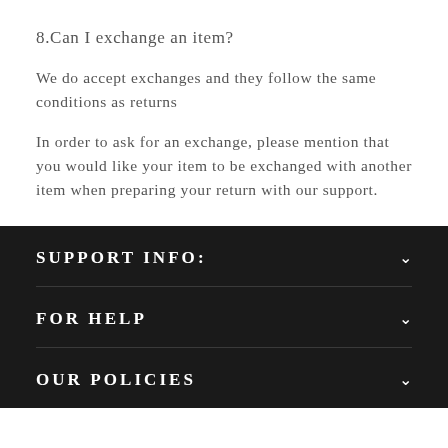8.Can I exchange an item?
We do accept exchanges and they follow the same conditions as returns
In order to ask for an exchange, please mention that you would like your item to be exchanged with another item when preparing your return with our support.
SUPPORT INFO:
FOR HELP
OUR POLICIES